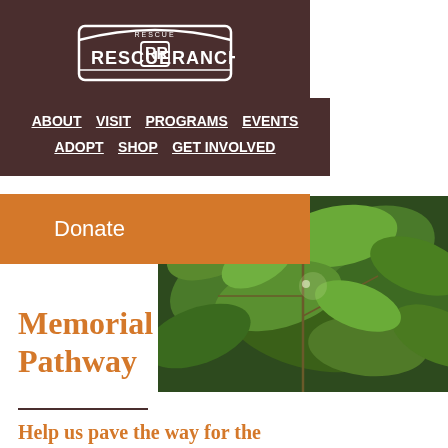[Figure (logo): Rescue Ranch logo badge with stylized RR emblem on dark brown background]
ABOUT   VISIT   PROGRAMS   EVENTS   ADOPT   SHOP   GET INVOLVED
Donate
[Figure (photo): Close-up photo of green leaves on branches]
Memorial Garden and Pathway
Help us pave the way for the